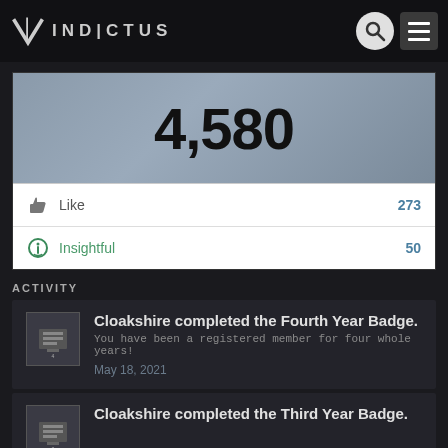[Figure (logo): Vindictus game logo with stylized V and text VINDICTUS in the navigation bar]
4,580
Like 273
Insightful 50
ACTIVITY
Cloakshire completed the Fourth Year Badge.
You have been a registered member for four whole years!
May 18, 2021
Cloakshire completed the Third Year Badge.